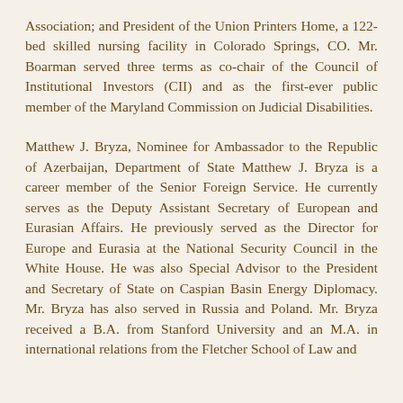Association; and President of the Union Printers Home, a 122-bed skilled nursing facility in Colorado Springs, CO. Mr. Boarman served three terms as co-chair of the Council of Institutional Investors (CII) and as the first-ever public member of the Maryland Commission on Judicial Disabilities.
Matthew J. Bryza, Nominee for Ambassador to the Republic of Azerbaijan, Department of State Matthew J. Bryza is a career member of the Senior Foreign Service. He currently serves as the Deputy Assistant Secretary of European and Eurasian Affairs. He previously served as the Director for Europe and Eurasia at the National Security Council in the White House. He was also Special Advisor to the President and Secretary of State on Caspian Basin Energy Diplomacy. Mr. Bryza has also served in Russia and Poland. Mr. Bryza received a B.A. from Stanford University and an M.A. in international relations from the Fletcher School of Law and